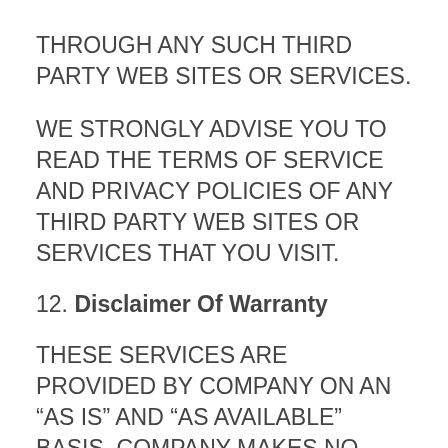THROUGH ANY SUCH THIRD PARTY WEB SITES OR SERVICES.
WE STRONGLY ADVISE YOU TO READ THE TERMS OF SERVICE AND PRIVACY POLICIES OF ANY THIRD PARTY WEB SITES OR SERVICES THAT YOU VISIT.
12. Disclaimer Of Warranty
THESE SERVICES ARE PROVIDED BY COMPANY ON AN “AS IS” AND “AS AVAILABLE” BASIS. COMPANY MAKES NO REPRESENTATIONS OR WARRANTIES OF ANY KIND, EXPRESS OR IMPLIED, AS TO